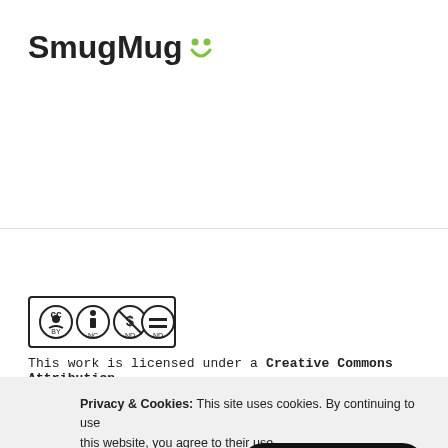[Figure (logo): SmugMug logo with green smiley face icon and bold black text]
[Figure (other): Creative Commons BY NC ND license badge with four icons in a row]
This work is licensed under a Creative Commons Attribution-
Privacy & Cookies: This site uses cookies. By continuing to use this website, you agree to their use.
To find out more, including how to con
Cookie Policy
Close and accept